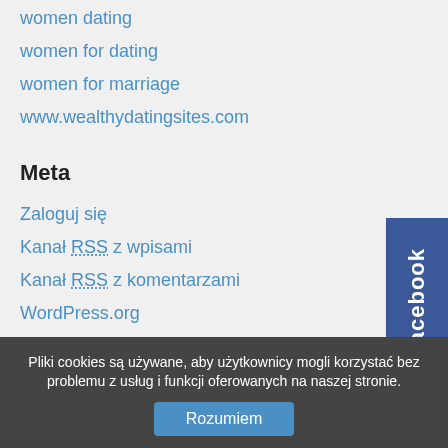women dating
women for dating
women for marriage
www.wealthydatingsites.com
Meta
Zaloguj się
Kanał RSS z wpisami
Kanał RSS z komentarzami
WordPress.org
[Figure (logo): Facebook vertical tab/badge on right side]
Pliki cookies są używane, aby użytkownicy mogli korzystać bez problemu z usług i funkcji oferowanych na naszej stronie.